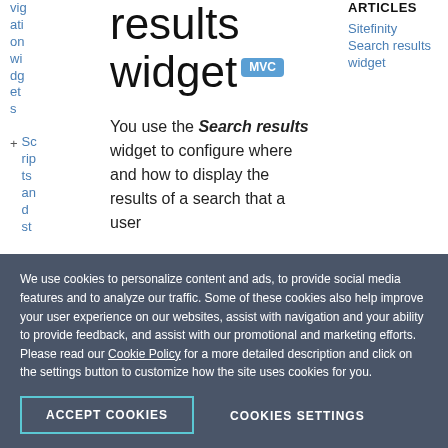vigation widgets
+ Scripts and st...
results widget
You use the Search results widget to configure where and how to display the results of a search that a user
ARTICLES
Sitefinity Search results widget
We use cookies to personalize content and ads, to provide social media features and to analyze our traffic. Some of these cookies also help improve your user experience on our websites, assist with navigation and your ability to provide feedback, and assist with our promotional and marketing efforts. Please read our Cookie Policy for a more detailed description and click on the settings button to customize how the site uses cookies for you.
ACCEPT COOKIES
COOKIES SETTINGS